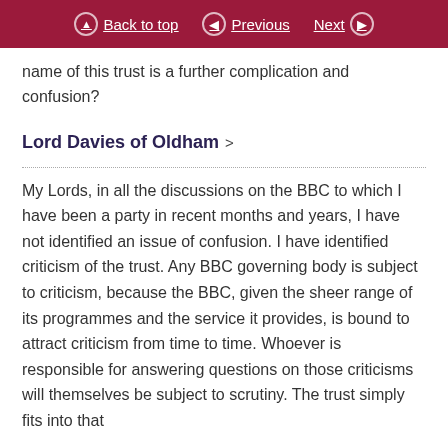Back to top   Previous   Next
name of this trust is a further complication and confusion?
Lord Davies of Oldham
My Lords, in all the discussions on the BBC to which I have been a party in recent months and years, I have not identified an issue of confusion. I have identified criticism of the trust. Any BBC governing body is subject to criticism, because the BBC, given the sheer range of its programmes and the service it provides, is bound to attract criticism from time to time. Whoever is responsible for answering questions on those criticisms will themselves be subject to scrutiny. The trust simply fits into that